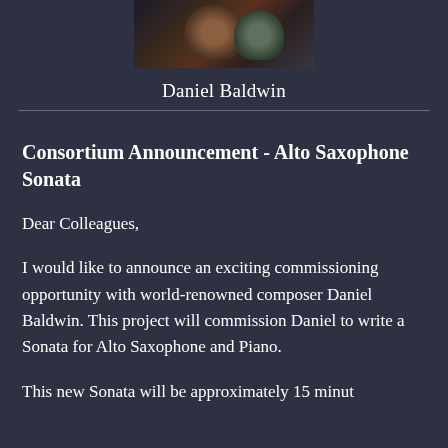[Figure (photo): Cropped photo of Daniel Baldwin, dark background, showing upper body/hands with instrument]
Daniel Baldwin
Consortium Announcement - Alto Saxophone Sonata
Dear Colleagues,
I would like to announce an exciting commissioning opportunity with world-renowned composer Daniel Baldwin. This project will commission Daniel to write a Sonata for Alto Saxophone and Piano.
This new Sonata will be approximately 15 minut...